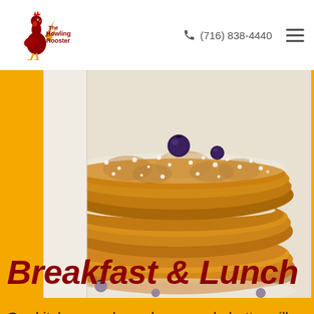The Howling Rooster | (716) 838-4440
[Figure (photo): Close-up photo of a stack of golden buttermilk pancakes dusted with powdered sugar and topped with blueberries, served on a white plate]
Breakfast & Lunch
Our kitchen produces homemade buttermilk pancakes and crepes. We feature a savory selection of traditional omelettes with creative twists. Choose from our customer's favorites such as the Benedict Arnold, Potato Pancakes & eggs and our Breakfast